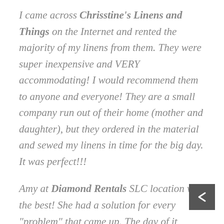I came across Chrisstine's Linens and Things on the Internet and rented the majority of my linens from them. They were super inexpensive and VERY accommodating! I would recommend them to anyone and everyone! They are a small company run out of their home (mother and daughter), but they ordered in the material and sewed my linens in time for the big day. It was perfect!!!
Amy at Diamond Rentals SLC location was the best! She had a solution for every "problem" that came up. The day of it started to rain and because using the